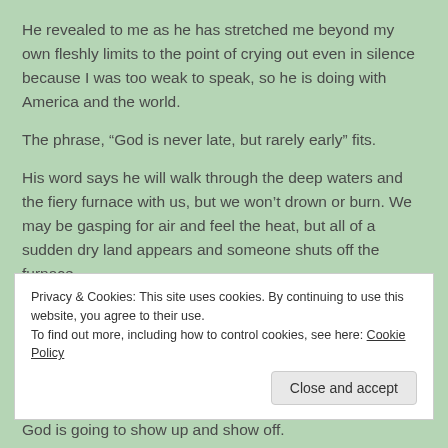He revealed to me as he has stretched me beyond my own fleshly limits to the point of crying out even in silence because I was too weak to speak, so he is doing with America and the world.
The phrase, “God is never late, but rarely early” fits.
His word says he will walk through the deep waters and the fiery furnace with us, but we won’t drown or burn. We may be gasping for air and feel the heat, but all of a sudden dry land appears and someone shuts off the furnace.
Privacy & Cookies: This site uses cookies. By continuing to use this website, you agree to their use.
To find out more, including how to control cookies, see here: Cookie Policy
God is going to show up and show off.